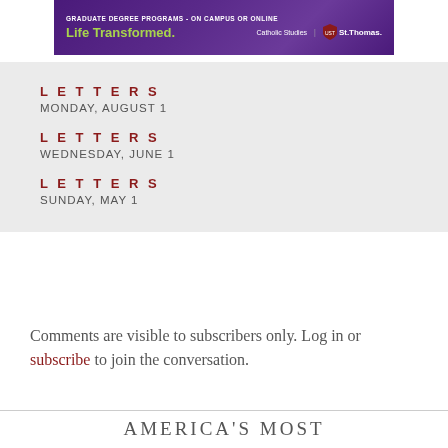[Figure (other): University of St. Thomas advertisement banner: 'GRADUATE DEGREE PROGRAMS - ON CAMPUS OR ONLINE / Life Transformed. / Catholic Studies | St.Thomas.']
LETTERS
MONDAY, AUGUST 1
LETTERS
WEDNESDAY, JUNE 1
LETTERS
SUNDAY, MAY 1
Comments are visible to subscribers only. Log in or subscribe to join the conversation.
AMERICA'S MOST